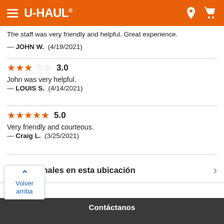[Figure (screenshot): U-Haul mobile app header with orange background, hamburger menu, U-HAUL logo, location pin icon, and cart icon]
The staff was very friendly and helpful. Great experience.
— JOHN W.  (4/19/2021)
★★★☆☆ 3.0
John was very helpful.
— LOUIS S.  (4/14/2021)
★★★★★ 5.0
Very friendly and courteous.
— Craig L.  (3/25/2021)
os adicionales en esta ubicación
Volver arriba
Contáctanos